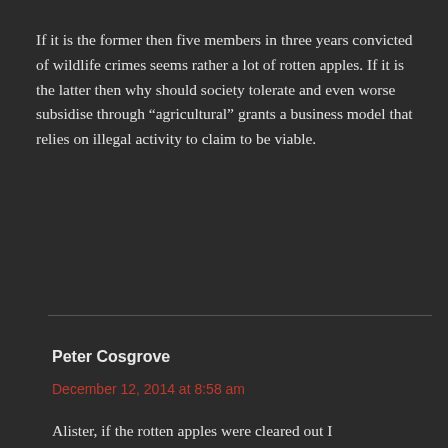If it is the former then five members in three years convicted of wildlife crimes seems rather a lot of rotten apples. If it is the latter then why should society tolerate and even worse subsidise through “agricultural” grants a business model that relies on illegal activity to claim to be viable.
Reply
Peter Cosgrove
December 12, 2014 at 8:58 am
Alister, if the rotten apples were cleared out I